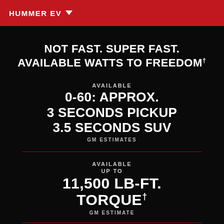HUMMER EV
NOT FAST. SUPER FAST. AVAILABLE WATTS TO FREEDOM†
AVAILABLE
0-60: APPROX.
3 SECONDS PICKUP
3.5 SECONDS SUV
GM ESTIMATES
AVAILABLE
UP TO
11,500 LB-FT.
TORQUE†
GM ESTIMATE